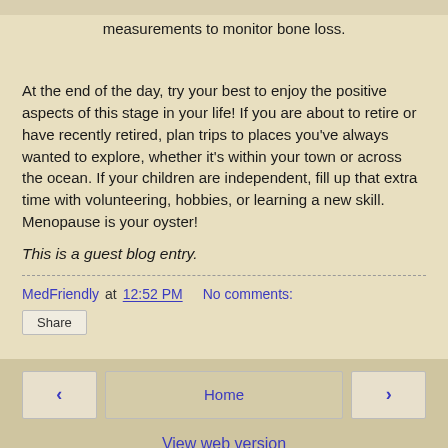measurements to monitor bone loss.
At the end of the day, try your best to enjoy the positive aspects of this stage in your life! If you are about to retire or have recently retired, plan trips to places you've always wanted to explore, whether it's within your town or across the ocean. If your children are independent, fill up that extra time with volunteering, hobbies, or learning a new skill. Menopause is your oyster!
This is a guest blog entry.
MedFriendly at 12:52 PM   No comments:
Share
Home | View web version | Powered by Blogger.